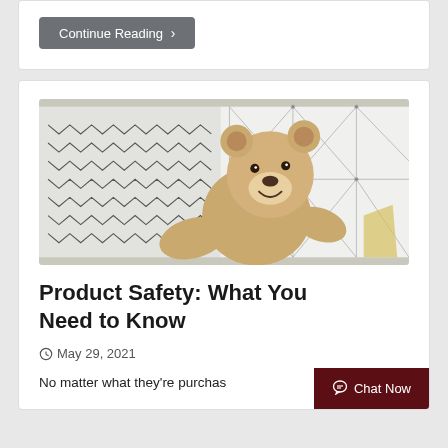Continue Reading >
[Figure (photo): A plush teddy bear lying on a white geometric patterned bedding/pillow surface with zigzag and triangular patterns]
Product Safety: What You Need to Know
May 29, 2021
No matter what they're purchas...
Chat Now